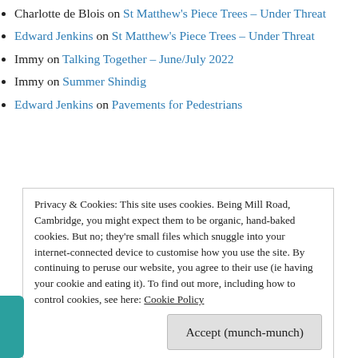Charlotte de Blois on St Matthew's Piece Trees – Under Threat
Edward Jenkins on St Matthew's Piece Trees – Under Threat
Immy on Talking Together – June/July 2022
Immy on Summer Shindig
Edward Jenkins on Pavements for Pedestrians
Privacy & Cookies: This site uses cookies. Being Mill Road, Cambridge, you might expect them to be organic, hand-baked cookies. But no; they're small files which snuggle into your internet-connected device to customise how you use the site. By continuing to peruse our website, you agree to their use (ie having your cookie and eating it). To find out more, including how to control cookies, see here: Cookie Policy
Accept (munch-munch)